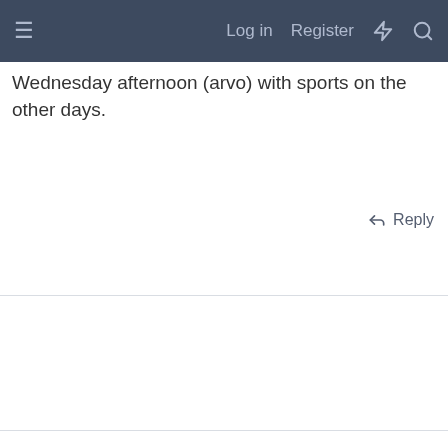Log in   Register
Wednesday afternoon (arvo) with sports on the other days.
Reply